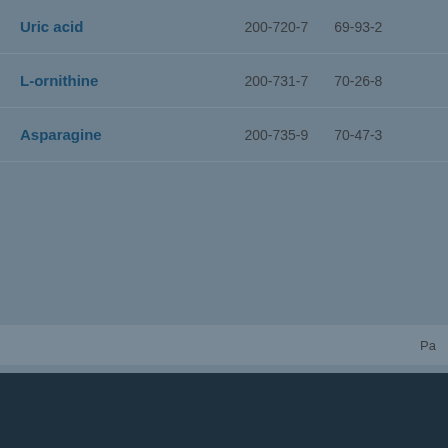| Uric acid | 200-720-7 | 69-93-2 |
| L-ornithine | 200-731-7 | 70-26-8 |
| Asparagine | 200-735-9 | 70-47-3 |
Pa
Previous